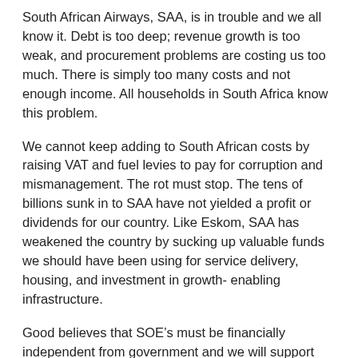South African Airways, SAA, is in trouble and we all know it. Debt is too deep; revenue growth is too weak, and procurement problems are costing us too much. There is simply too many costs and not enough income. All households in South Africa know this problem.
We cannot keep adding to South African costs by raising VAT and fuel levies to pay for corruption and mismanagement. The rot must stop. The tens of billions sunk in to SAA have not yielded a profit or dividends for our country. Like Eskom, SAA has weakened the country by sucking up valuable funds we should have been using for service delivery, housing, and investment in growth- enabling infrastructure.
Good believes that SOE’s must be financially independent from government and we will support anyone who can turn around the ailing SAA and stop the need for bailouts. State-owned enterprises must be run efficiently and professionally so that they yield dividends. We need those dividends and profits to be used for the benefit of all South Africans so that we can invest more for South Africa. We need more budget to ensure that social grants keep pace with inflation. We